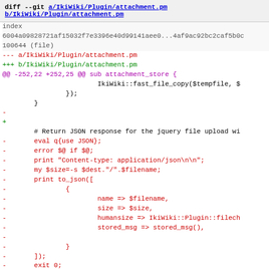diff --git a/IkiWiki/Plugin/attachment.pm b/IkiWiki/Plugin/attachment.pm
index 6004a09828721af15032f7e3396e40d99141aee0...4af9ac92bc2caf5b0c 100644 (file)
--- a/IkiWiki/Plugin/attachment.pm
+++ b/IkiWiki/Plugin/attachment.pm
@@ -252,22 +252,25 @@ sub attachment_store {
code diff content